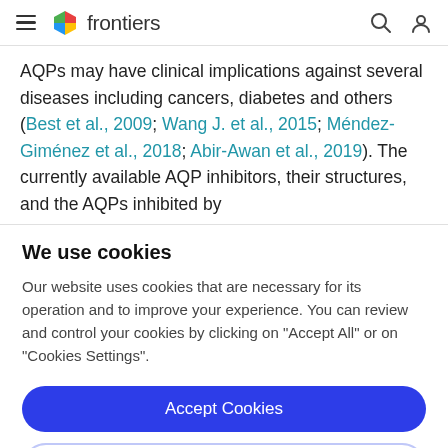frontiers
AQPs may have clinical implications against several diseases including cancers, diabetes and others (Best et al., 2009; Wang J. et al., 2015; Méndez-Giménez et al., 2018; Abir-Awan et al., 2019). The currently available AQP inhibitors, their structures, and the AQPs inhibited by
We use cookies
Our website uses cookies that are necessary for its operation and to improve your experience. You can review and control your cookies by clicking on "Accept All" or on "Cookies Settings".
Accept Cookies
Cookies Settings